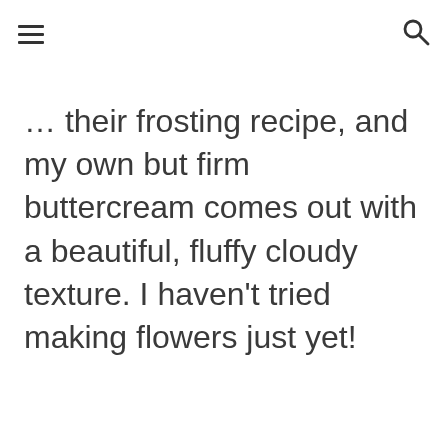[hamburger menu icon] [search icon]
… their frosting recipe, and my own but firm buttercream comes out with a beautiful, fluffy cloudy texture. I haven't tried making flowers just yet!